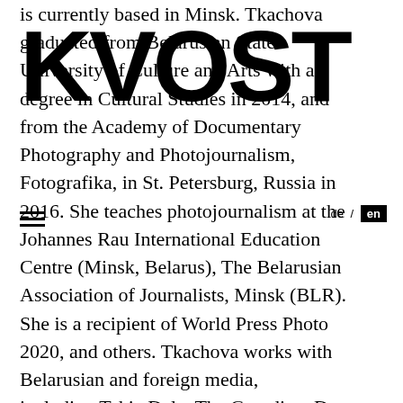[Figure (logo): KVOST logo in large bold black letters overlaying the text]
is currently based in Minsk. Tkachova graduated from Belarusian State University of Culture and Arts with a degree in Cultural Studies in 2014, and from the Academy of Documentary Photography and Photojournalism, Fotografika, in St. Petersburg, Russia in 2016. She teaches photojournalism at the Johannes Rau International Education Centre (Minsk, Belarus), The Belarusian Association of Journalists, Minsk (BLR). She is a recipient of World Press Photo 2020, and others. Tkachova works with Belarusian and foreign media, including Takie Dela, The Guardian, Der Spiegel, De Volkskrant, Meduza.io, Esquire.ru, Ostpol
[Figure (other): Navigation element: hamburger menu icon and language toggle with 'de / en' (en highlighted)]